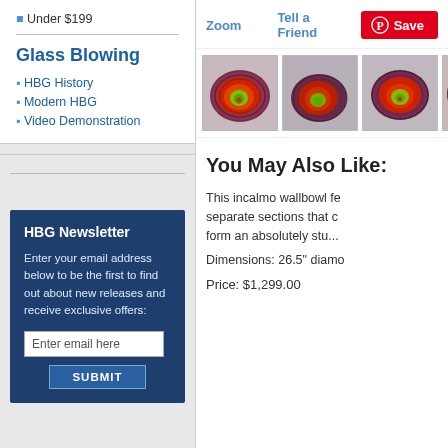Under $199
Glass Blowing
HBG History
Modern HBG
Video Demonstration
HBG Newsletter
Enter your email address below to be the first to find out about new releases and receive exclusive offers:
Zoom
Tell a Friend
Save
[Figure (photo): Glass art piece - swirling red, green, and dark patterns]
[Figure (photo): Glass art piece - swirling red, green, and dark patterns variant 2]
[Figure (photo): Glass art piece - swirling red, green, and dark patterns variant 3]
[Figure (photo): Glass art piece - swirling red, green, and dark patterns variant 4]
You May Also Like:
This incalmo wallbowl fe separate sections that c form an absolutely stu...
Dimensions: 26.5" diamo
Price: $1,299.00